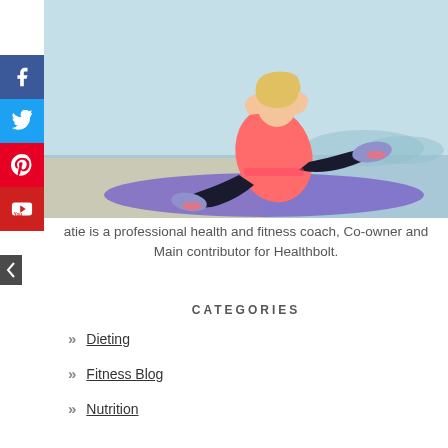[Figure (photo): A blonde woman in a pink/coral tank top and black leggings sitting on a purple yoga mat doing sit-ups, with a light blue background.]
atie is a professional health and fitness coach, Co-owner and Main contributor for Healthbolt.
CATEGORIES
Dieting
Fitness Blog
Nutrition